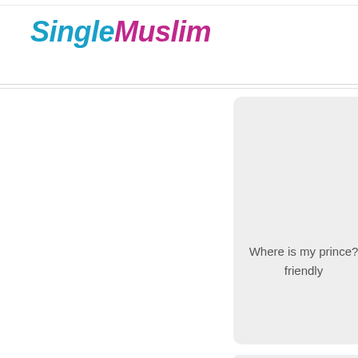[Figure (logo): SingleMuslim logo with 'Single' in cyan/teal and 'Muslim' in magenta/pink, both italic bold]
Where is my prince? friendly